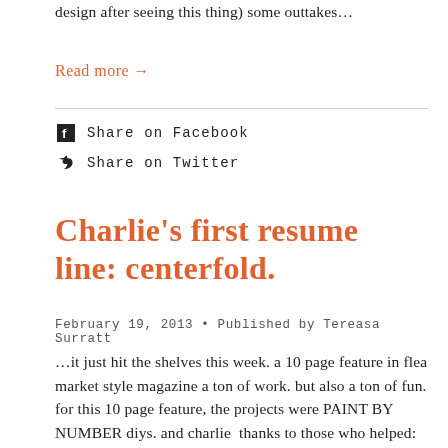design after seeing this thing) some outtakes…
Read more →
Share on Facebook
Share on Twitter
Charlie's first resume line: centerfold.
February 19, 2013 • Published by Tereasa Surratt
…it just hit the shelves this week. a 10 page feature in flea market style magazine a ton of work. but also a ton of fun. for this 10 page feature, the projects were PAINT BY NUMBER diys. and charlie  thanks to those who helped: christina...